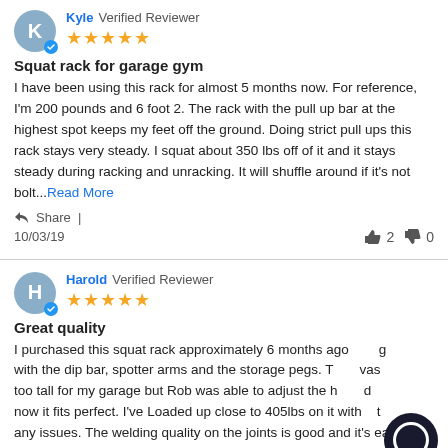Kyle Verified Reviewer
[Figure (other): 5 gold stars rating]
Squat rack for garage gym
I have been using this rack for almost 5 months now. For reference, I'm 200 pounds and 6 foot 2. The rack with the pull up bar at the highest spot keeps my feet off the ground. Doing strict pull ups this rack stays very steady. I squat about 350 lbs off of it and it stays steady during racking and unracking. It will shuffle around if it's not bolt...Read More
Share |
10/03/19
2  0
Harold Verified Reviewer
[Figure (other): 5 gold stars rating]
Great quality
I purchased this squat rack approximately 6 months ago with the dip bar, spotter arms and the storage pegs. T was too tall for my garage but Rob was able to adjust the h d now it fits perfect. I've Loaded up close to 405lbs on it with out any issues. The welding quality on the joints is good and it's easy to assemble. Read More